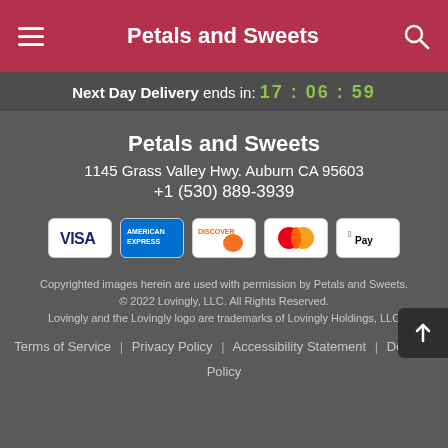Petals and Sweets
Next Day Delivery ends in: 17 : 06 : 59
Petals and Sweets
1145 Grass Valley Hwy. Auburn CA 95603
+1 (530) 889-3939
[Figure (logo): Payment method icons: VISA, American Express, Discover, Mastercard, Apple Pay]
Copyrighted images herein are used with permission by Petals and Sweets.
© 2022 Lovingly, LLC. All Rights Reserved.
Lovingly and the Lovingly logo are trademarks of Lovingly Holdings, LLC
Terms of Service | Privacy Policy | Accessibility Statement | Delivery Policy